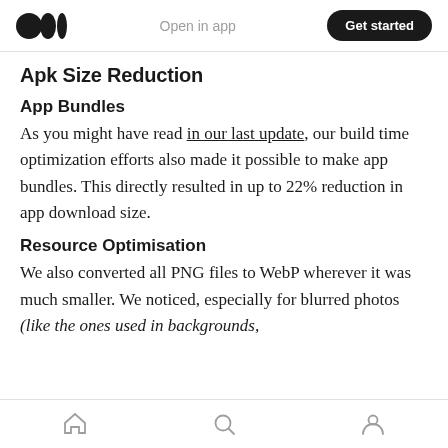Open in app  Get started
Apk Size Reduction
App Bundles
As you might have read in our last update, our build time optimization efforts also made it possible to make app bundles. This directly resulted in up to 22% reduction in app download size.
Resource Optimisation
We also converted all PNG files to WebP wherever it was much smaller. We noticed, especially for blurred photos (like the ones used in backgrounds,
home  search  profile